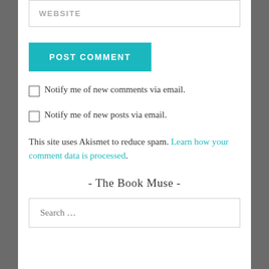WEBSITE
POST COMMENT
Notify me of new comments via email.
Notify me of new posts via email.
This site uses Akismet to reduce spam. Learn how your comment data is processed.
- The Book Muse -
Search ...